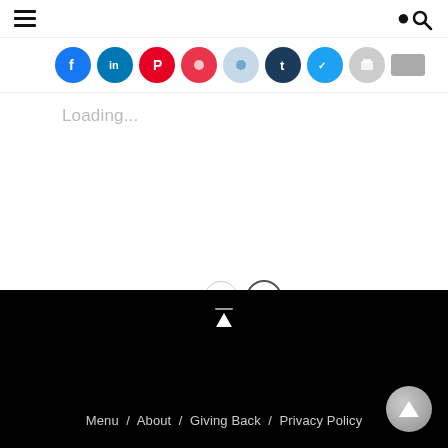Menu / hamburger icon and search icon
[Figure (screenshot): Row of social media share buttons as colored circles: Facebook (blue), LinkedIn (blue), Pinterest (red), a red circle, Reddit (light blue), Tumblr (dark navy), Twitter (blue), share/print (gray), and another gray button]
Loading...
← PREVIOUS  1  2  NEXT →
Menu / About / Giving Back / Privacy Policy